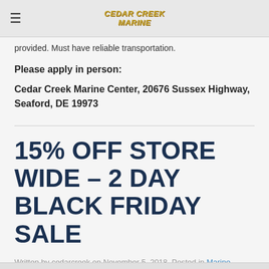Cedar Creek Marine (logo)
provided. Must have reliable transportation.
Please apply in person:
Cedar Creek Marine Center, 20676 Sussex Highway, Seaford, DE 19973
15% OFF STORE WIDE – 2 DAY BLACK FRIDAY SALE
Written by cedarcreek on November 5, 2018. Posted in Marine Center, Sales